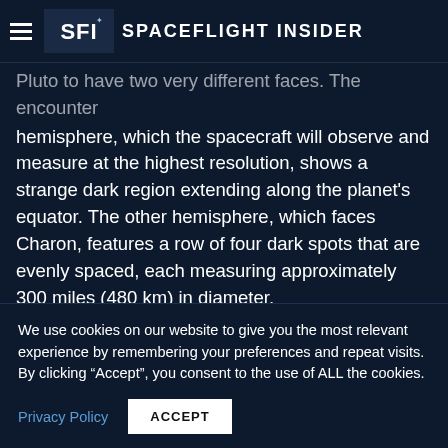Spaceflight Insider
Pluto to have two very different faces. The encounter hemisphere, which the spacecraft will observe and measure at the highest resolution, shows a strange dark region extending along the planet's equator. The other hemisphere, which faces Charon, features a row of four dark spots that are evenly spaced, each measuring approximately 300 miles (480 km) in diameter.
[Figure (photo): Image placeholder box, likely an embedded advertisement or image]
We use cookies on our website to give you the most relevant experience by remembering your preferences and repeat visits. By clicking “Accept”, you consent to the use of ALL the cookies.